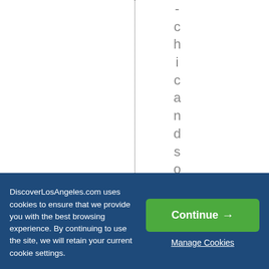[Figure (screenshot): White background area with a vertical dotted line at center-left and vertical text reading '-chicandsophisti' character by character down the page]
DiscoverLosAngeles.com uses cookies to ensure that we provide you with the best browsing experience. By continuing to use the site, we will retain your current cookie settings.
Continue →
Manage Cookies